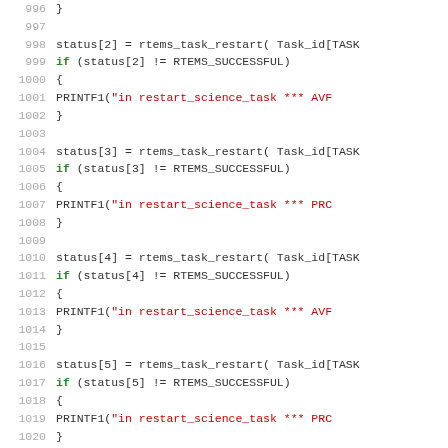Source code listing lines 996-1020, C code with RTEMS task restart calls and error checking
[Figure (screenshot): C source code snippet showing lines 996-1020 with rtems_task_restart calls and PRINTF1 error messages for restart_science_task function]